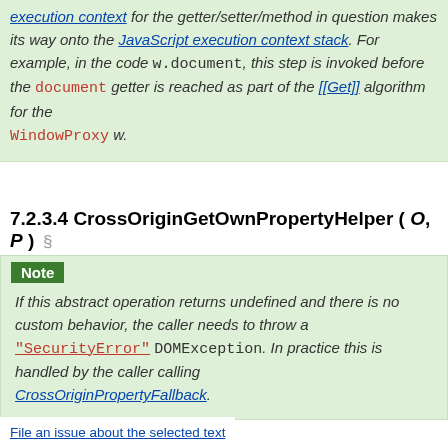execution context for the getter/setter/method in question makes its way onto the JavaScript execution context stack. For example, in the code w.document, this step is invoked before the document getter is reached as part of the [[Get]] algorithm for the WindowProxy w.
7.2.3.4 CrossOriginGetOwnPropertyHelper ( O, P ) §
Note
If this abstract operation returns undefined and there is no custom behavior, the caller needs to throw a "SecurityError" DOMException. In practice this is handled by the caller calling CrossOriginPropertyFallback.
File an issue about the selected text